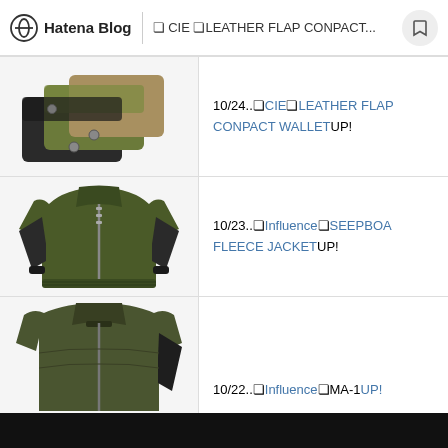Hatena Blog | ❏ CIE ❏LEATHER FLAP CONPACT...
[Figure (photo): Two leather wallets in olive/khaki and black colors, folded compact style with snap buttons]
10/24..❏CIE❏LEATHER FLAP CONPACT WALLETUP!
[Figure (photo): Olive green and black MA-1 style bomber/fleece jacket with zipper front]
10/23..❏Influence❏SEEPBOA FLEECE JACKETUP!
[Figure (photo): Olive green and dark MA-1 style jacket with stand collar, partially visible]
10/22..❏Influence❏MA-1UP!